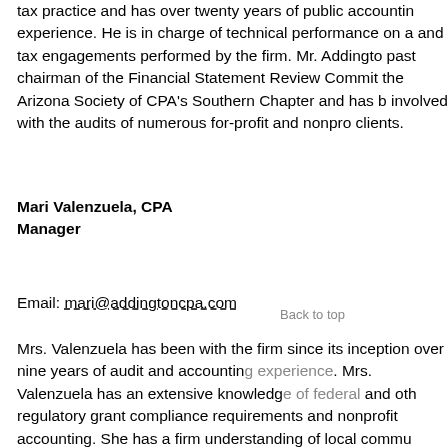Mr. Addington is in charge of the firm's accounting, auditing, tax practice and has over twenty years of public accounting experience. He is in charge of technical performance on all and tax engagements performed by the firm. Mr. Addington is past chairman of the Financial Statement Review Committee for the Arizona Society of CPA's Southern Chapter and has been involved with the audits of numerous for-profit and nonprofit clients.
Mari Valenzuela, CPA
Manager
Email: mari@addingtoncpa.com
Mrs. Valenzuela has been with the firm since its inception and has over nine years of audit and accounting experience. Mrs. Valenzuela has an extensive knowledge of federal and other regulatory grant compliance requirements and nonprofit accounting. She has a firm understanding of local community issues effecting nonprofit organizations operating in Southern Arizona, and a practical approach to assisting clients with compliance related issues. Mrs. Valenzuela is currently a volunteer for Carondelet Hospice.